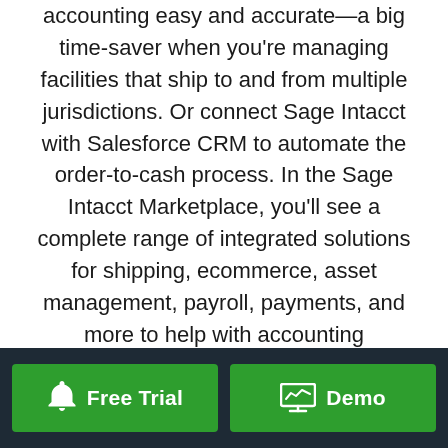accounting easy and accurate—a big time-saver when you're managing facilities that ship to and from multiple jurisdictions. Or connect Sage Intacct with Salesforce CRM to automate the order-to-cash process. In the Sage Intacct Marketplace, you'll see a complete range of integrated solutions for shipping, ecommerce, asset management, payroll, payments, and more to help with accounting responsibilities.
[Figure (other): Dark footer bar with two green CTA buttons: 'Free Trial' with bell icon and 'Demo' with chart/monitor icon]